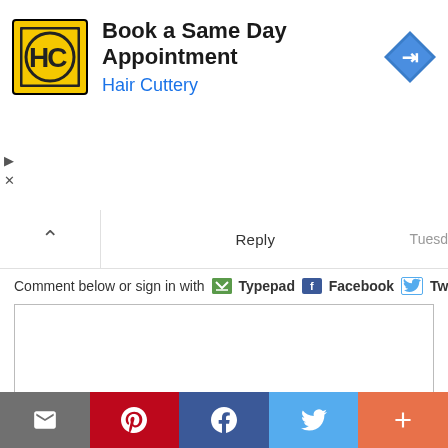[Figure (screenshot): Advertisement banner for Hair Cuttery: 'Book a Same Day Appointment' with HC logo and blue navigation arrow icon]
Reply
Tuesd
Comment below or sign in with Typepad Facebook Twitter and
(You can use HTML tags like <b> <i> and <ul> to style your text. URLs automatically linke
Email address is not displayed with comment.
[Figure (infographic): Social share bar with email, Pinterest, Facebook, Twitter, and more buttons]